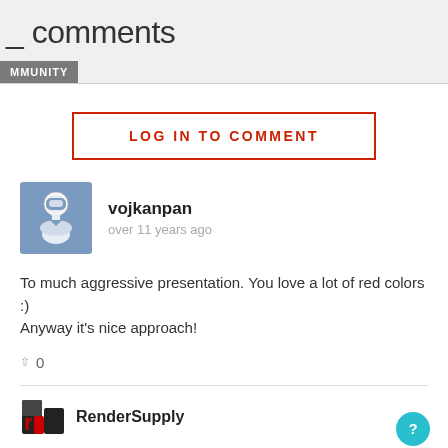comments
MMUNITY
LOG IN TO COMMENT
vojkanpan
over 11 years ago
To much aggressive presentation. You love a lot of red colors :) Anyway it's nice approach!
0
RenderSupply